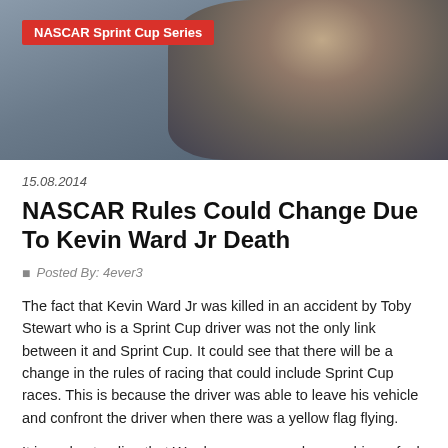[Figure (photo): Close-up photo of a NASCAR driver, partially visible face with stubble beard, wearing racing gear. Red label overlay reads 'NASCAR Sprint Cup Series'.]
15.08.2014
NASCAR Rules Could Change Due To Kevin Ward Jr Death
Posted By: 4ever3
The fact that Kevin Ward Jr was killed in an accident by Toby Stewart who is a Sprint Cup driver was not the only link between it and Sprint Cup. It could see that there will be a change in the rules of racing that could include Sprint Cup races. This is because the driver was able to leave his vehicle and confront the driver when there was a yellow flag flying.
It is understanding that Ward was angry and many drivers feel the same way when their car gets hit, whether by accident or on purpose. This was not the first time that a driver has left his vehicle and moved